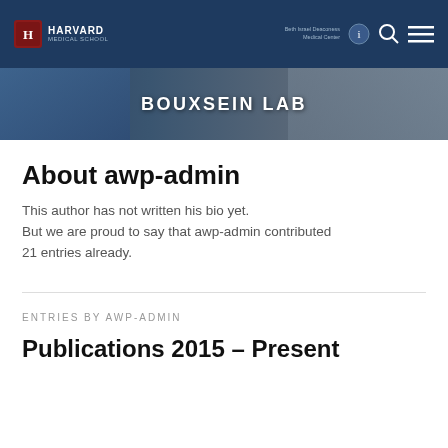HARVARD MEDICAL SCHOOL | Beth Israel Deaconess Medical Center
BOUXSEIN LAB
About awp-admin
This author has not written his bio yet. But we are proud to say that awp-admin contributed 21 entries already.
ENTRIES BY AWP-ADMIN
Publications 2015 – Present